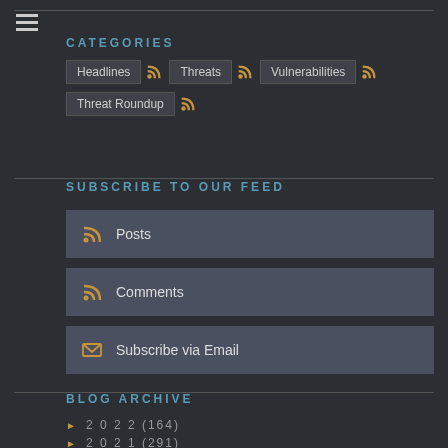CATEGORIES
Headlines
Threats
Vulnerabilities
Threat Roundup
SUBSCRIBE TO OUR FEED
Posts
Comments
Subscribe via Email
BLOG ARCHIVE
2022 (164)
2021 (291)